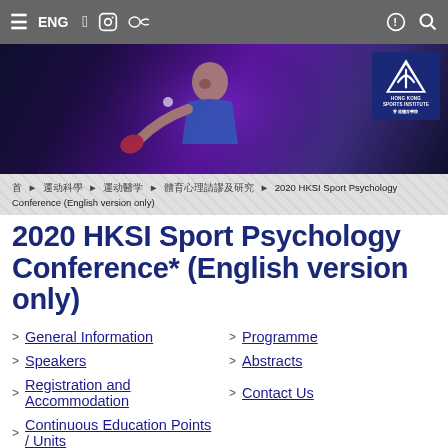≡ ENG [Facebook] [Instagram] [WeChat] [!] [Search]
[Figure (photo): Hero banner with table tennis player and Hong Kong Sports Institute logo on dark blue/purple background]
首 ▶ 運動科學 ▶ 運動醫學 ▶ 體育心理諮詢及研究 ▶ 2020 HKSI Sport Psychology Conference (English version only)
2020 HKSI Sport Psychology Conference* (English version only)
> General Information
> Programme
> Speakers
> Abstracts
> Registration and Accommodation
> Contact Us
> Continuous Education Points / Units